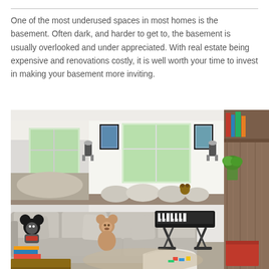One of the most underused spaces in most homes is the basement. Often dark, and harder to get to, the basement is usually overlooked and under appreciated. With real estate being expensive and renovations costly, it is well worth your time to invest in making your basement more inviting.
[Figure (photo): Interior photo of a renovated basement living room with large sectional sofa, stuffed animals (Mickey Mouse, teddy bear), built-in window seats with cushions and pillows along the windows, framed wall art, a keyboard on a stand, wooden shelving on the right side with books and plants, and toys scattered on the floor.]